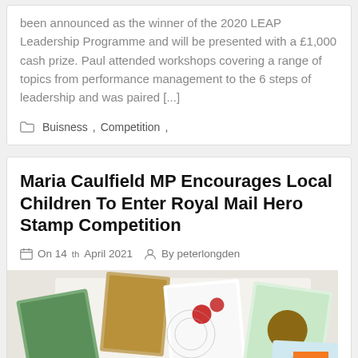been announced as the winner of the 2020 LEAP Leadership Programme and will be presented with a £1,000 cash prize. Paul attended workshops covering a range of topics from performance management to the 6 steps of leadership and was paired [...]
Buisness , Competition ,
Maria Caulfield MP Encourages Local Children To Enter Royal Mail Hero Stamp Competition
On 14th April 2021   By peterlongden
[Figure (photo): Photo of various colourful postage stamps scattered on a white envelope background]